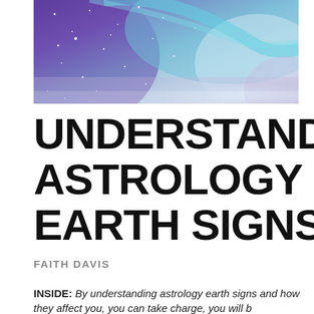[Figure (photo): Galaxy/space nebula background image with purple, blue, teal and white hues suggesting stars and cosmic clouds]
UNDERSTANDING ASTROLOGY EARTH SIGNS
FAITH DAVIS
INSIDE: By understanding astrology earth signs and how they affect you, you can take charge, you will b…